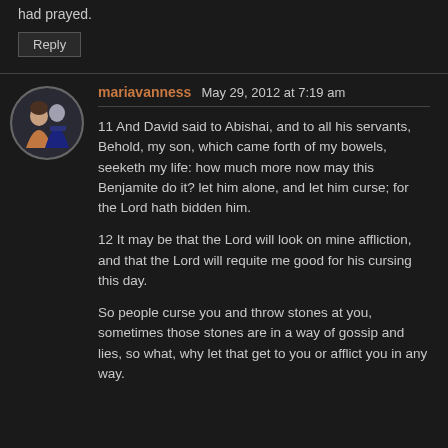had prayed.
Reply
mariavanness  May 29, 2012 at 7:19 am
11 And David said to Abishai, and to all his servants, Behold, my son, which came forth of my bowels, seeketh my life: how much more now may this Benjamite do it? let him alone, and let him curse; for the Lord hath bidden him.
12 It may be that the Lord will look on mine affliction, and that the Lord will requite me good for his cursing this day.
So people curse you and throw stones at you, sometimes those stones are in a way of gossip and lies, so what, why let that get to you or afflict you in any way.